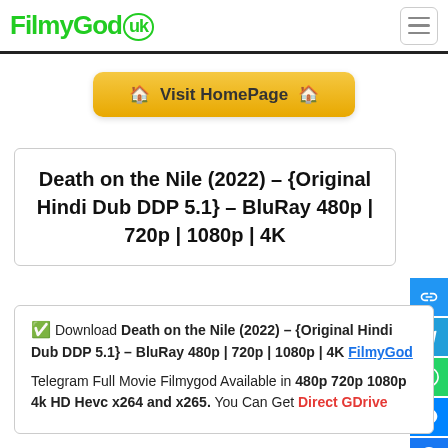FilmyGod.uk
Visit HomePage
Death on the Nile (2022) – {Original Hindi Dub DDP 5.1} – BluRay 480p | 720p | 1080p | 4K
✅ Download Death on the Nile (2022) – {Original Hindi Dub DDP 5.1} – BluRay 480p | 720p | 1080p | 4K FilmyGod Telegram Full Movie Filmygod Available in 480p 720p 1080p 4k HD Hevc x264 and x265. You Can Get Direct GDrive